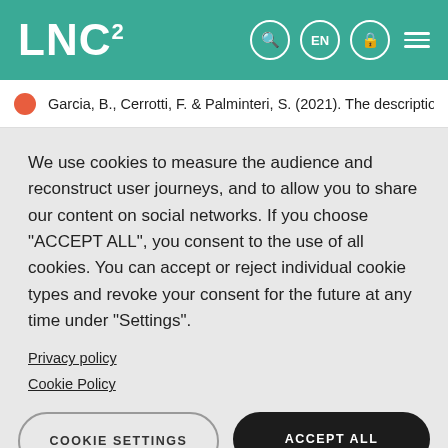LNC²
Garcia, B., Cerrotti, F. & Palminteri, S. (2021). The description-
We use cookies to measure the audience and reconstruct user journeys, and to allow you to share our content on social networks. If you choose "ACCEPT ALL", you consent to the use of all cookies. You can accept or reject individual cookie types and revoke your consent for the future at any time under "Settings".
Privacy policy
Cookie Policy
COOKIE SETTINGS
ACCEPT ALL